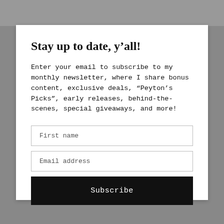Stay up to date, y’all!
Enter your email to subscribe to my monthly newsletter, where I share bonus content, exclusive deals, “Peyton’s Picks”, early releases, behind-the-scenes, special giveaways, and more!
First name
Email address
Subscribe